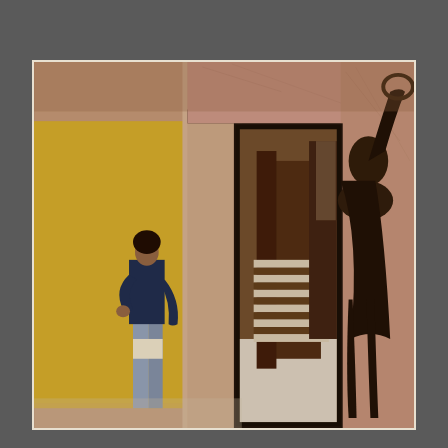[Figure (photo): Interior architectural photograph showing a woman in a navy top and light jeans standing near a doorway opening onto a staircase. The walls are marble with pink and sandy tones. On the right side is a dark bronze classical sculpture of a figure. Through the doorway, wooden stairs and marble steps are visible along with a dark wood interior.]